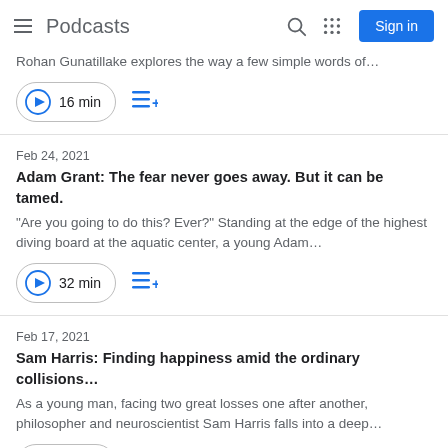Podcasts  Sign in
Rohan Gunatillake explores the way a few simple words of…
▶ 16 min
Feb 24, 2021
Adam Grant: The fear never goes away. But it can be tamed.
"Are you going to do this? Ever?" Standing at the edge of the highest diving board at the aquatic center, a young Adam…
▶ 32 min
Feb 17, 2021
Sam Harris: Finding happiness amid the ordinary collisions…
As a young man, facing two great losses one after another, philosopher and neuroscientist Sam Harris falls into a deep…
▶ 21 min